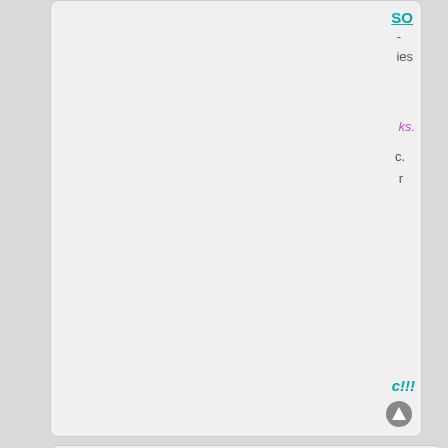SO
ies
ks.
c.
r
c!!!
[Figure (illustration): Aboriginal Australian flag: black top half, red bottom half, yellow circle in center]
Isle of Lithonia
Negotiator
Posts: 5024
Founded: Nov 20, 2013
Scandinavian Liberal Paradise
QUOTE
by Isle of Lithonia » Sat Jun 14, 2014 9:20 pm